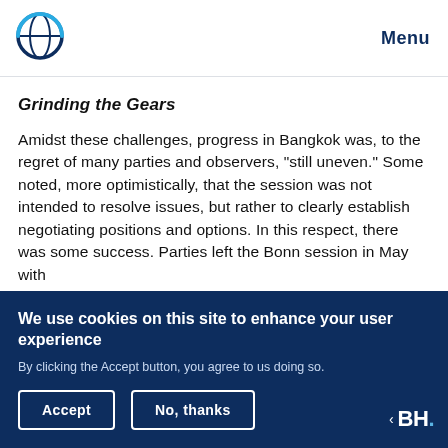Menu
Grinding the Gears
Amidst these challenges, progress in Bangkok was, to the regret of many parties and observers, "still uneven." Some noted, more optimistically, that the session was not intended to resolve issues, but rather to clearly establish negotiating positions and options. In this respect, there was some success. Parties left the Bonn session in May with
We use cookies on this site to enhance your user experience
By clicking the Accept button, you agree to us doing so.
Accept
No, thanks